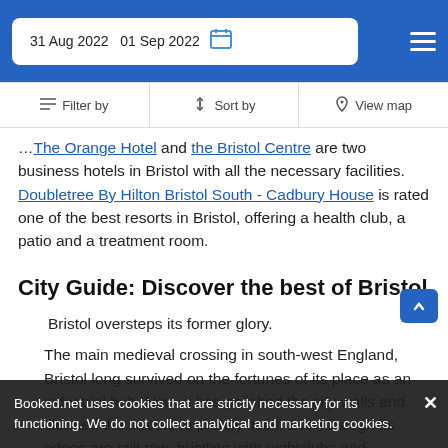31 Aug 2022  01 Sep 2022
Filter by  Sort by  View map
...The Orange Hotel and the Bristol Centre are two business hotels in Bristol with all the necessary facilities. Doubletree By Hilton Bristol South - Cadbury House is rated one of the best resorts in Bristol, offering a health club, a patio and a treatment room.
City Guide: Discover the best of Bristol
Bristol oversteps its former glory.
The main medieval crossing in south-west England, Bristol long survived on the fortunes of its place as an industrial hub. Now, it has polished the city walls and cleaned the streets to prettify itself. Even though its edges are still raw, bristling with nightclubs and waterfront cafes.
Booked.net uses cookies that are strictly necessary for its functioning. We do not collect analytical and marketing cookies.